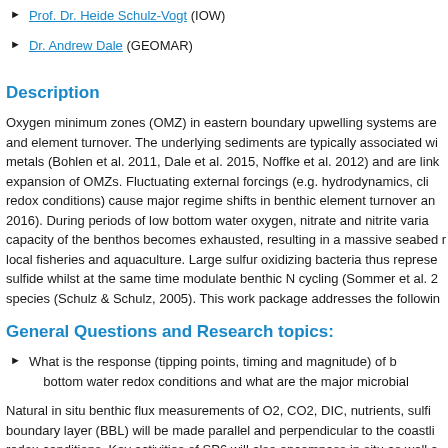Prof. Dr. Heide Schulz-Vogt (IOW)
Dr. Andrew Dale (GEOMAR)
Description
Oxygen minimum zones (OMZ) in eastern boundary upwelling systems are and element turnover. The underlying sediments are typically associated wi metals (Bohlen et al. 2011, Dale et al. 2015, Noffke et al. 2012) and are link expansion of OMZs. Fluctuating external forcings (e.g. hydrodynamics, cli redox conditions) cause major regime shifts in benthic element turnover an 2016). During periods of low bottom water oxygen, nitrate and nitrite varia capacity of the benthos becomes exhausted, resulting in a massive seabed r local fisheries and aquaculture. Large sulfur oxidizing bacteria thus represe sulfide whilst at the same time modulate benthic N cycling (Sommer et al. 2 species (Schulz & Schulz, 2005). This work package addresses the followin
General Questions and Research topics:
What is the response (tipping points, timing and magnitude) of b bottom water redox conditions and what are the major microbial
Natural in situ benthic flux measurements of O2, CO2, DIC, nutrients, sulfi boundary layer (BBL) will be made parallel and perpendicular to the coastli redox-conditions. Key activities of SP6 will also encompass in situ as well a manipulation of bottom water redox conditions (e.g. O2, NO3-, NO2-, label beyond which different pathways of microbial P and N turnover are activate